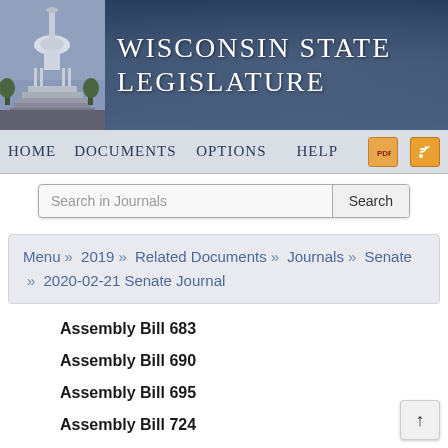[Figure (screenshot): Wisconsin State Legislature website header with capitol building image and dark blue gradient background]
Wisconsin State Legislature
Home   Documents   Options   Help
Search in Journals   Search
Menu » 2019 » Related Documents » Journals » Senate » 2020-02-21 Senate Journal
Assembly Bill 683
Assembly Bill 690
Assembly Bill 695
Assembly Bill 724
Assembly Bill 752
Assembly Bill 753
Assembly Bill 779